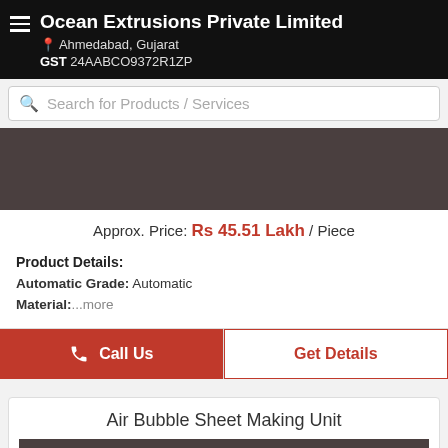Ocean Extrusions Private Limited
Ahmedabad, Gujarat
GST 24AABCO9372R1ZP
Search for Products / Services
[Figure (photo): Dark brownish-grey product image placeholder]
Approx. Price: Rs 45.51 Lakh / Piece
Product Details:
Automatic Grade: Automatic
Material: ...more
Call Us
Get Details
Air Bubble Sheet Making Unit
[Figure (photo): Dark brownish-grey product image placeholder for Air Bubble Sheet Making Unit]